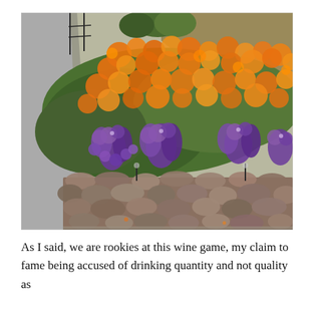[Figure (photo): Outdoor garden scene showing a hillside planting of bright orange California poppies and purple petunias growing behind a rustic dry-stack stone retaining wall. A gravel road is visible on the left, green foliage and a hazy hillside in the background.]
As I said, we are rookies at this wine game, my claim to fame being accused of drinking quantity and not quality as